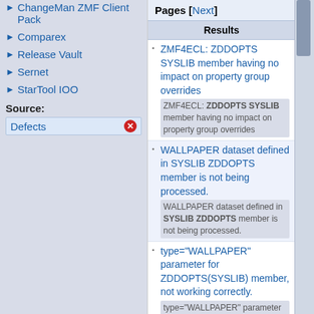ChangeMan ZMF Client Pack
Comparex
Release Vault
Sernet
StarTool IOO
Source:
Defects
Pages [Next]
Results
ZMF4ECL: ZDDOPTS SYSLIB member having no impact on property group overrides
ZMF4ECL: ZDDOPTS SYSLIB member having no impact on property group overrides
WALLPAPER dataset defined in SYSLIB ZDDOPTS member is not being processed.
WALLPAPER dataset defined in SYSLIB ZDDOPTS member is not being processed.
type="WALLPAPER" parameter for ZDDOPTS(SYSLIB) member, not working correctly.
type="WALLPAPER" parameter for ZDDOPTS ( SYSLIB ) member, not working